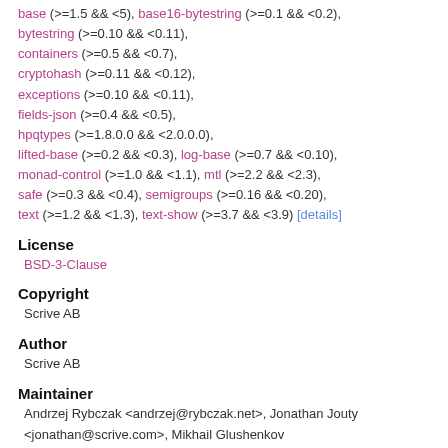base (>=1.5 && <5), base16-bytestring (>=0.1 && <0.2), bytestring (>=0.10 && <0.11), containers (>=0.5 && <0.7), cryptohash (>=0.11 && <0.12), exceptions (>=0.10 && <0.11), fields-json (>=0.4 && <0.5), hpqtypes (>=1.8.0.0 && <2.0.0.0), lifted-base (>=0.2 && <0.3), log-base (>=0.7 && <0.10), monad-control (>=1.0 && <1.1), mtl (>=2.2 && <2.3), safe (>=0.3 && <0.4), semigroups (>=0.16 && <0.20), text (>=1.2 && <1.3), text-show (>=3.7 && <3.9) [details]
License
BSD-3-Clause
Copyright
Scrive AB
Author
Scrive AB
Maintainer
Andrzej Rybczak <andrzej@rybczak.net>, Jonathan Jouty <jonathan@scrive.com>, Mikhail Glushenkov <mikhail@scrive.com>